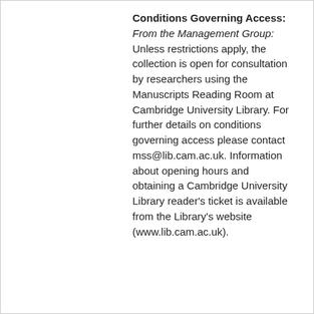Conditions Governing Access: From the Management Group: Unless restrictions apply, the collection is open for consultation by researchers using the Manuscripts Reading Room at Cambridge University Library. For further details on conditions governing access please contact mss@lib.cam.ac.uk. Information about opening hours and obtaining a Cambridge University Library reader's ticket is available from the Library's website (www.lib.cam.ac.uk).